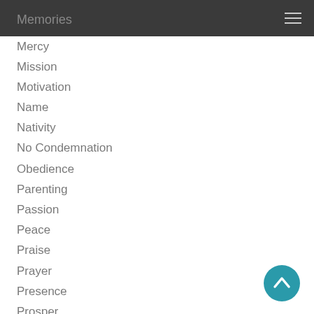Mark / Memories
Mercy
Mission
Motivation
Name
Nativity
No Condemnation
Obedience
Parenting
Passion
Peace
Praise
Prayer
Presence
Prosper
Protection
Provision
Purpose